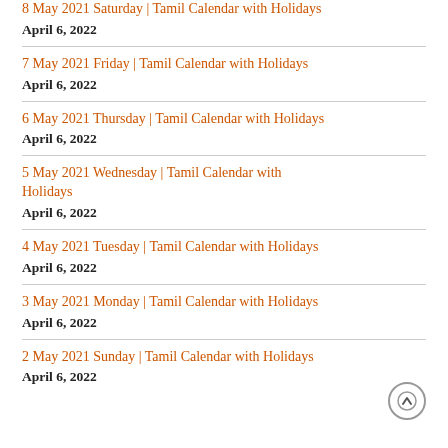8 May 2021 Saturday | Tamil Calendar with Holidays
April 6, 2022
7 May 2021 Friday | Tamil Calendar with Holidays
April 6, 2022
6 May 2021 Thursday | Tamil Calendar with Holidays
April 6, 2022
5 May 2021 Wednesday | Tamil Calendar with Holidays
April 6, 2022
4 May 2021 Tuesday | Tamil Calendar with Holidays
April 6, 2022
3 May 2021 Monday | Tamil Calendar with Holidays
April 6, 2022
2 May 2021 Sunday | Tamil Calendar with Holidays
April 6, 2022